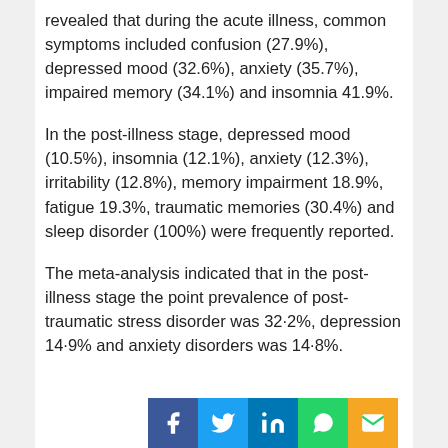revealed that during the acute illness, common symptoms included confusion (27.9%), depressed mood (32.6%), anxiety (35.7%), impaired memory (34.1%) and insomnia 41.9%.
In the post-illness stage, depressed mood (10.5%), insomnia (12.1%), anxiety (12.3%), irritability (12.8%), memory impairment 18.9%, fatigue 19.3%, traumatic memories (30.4%) and sleep disorder (100%) were frequently reported.
The meta-analysis indicated that in the post-illness stage the point prevalence of post-traumatic stress disorder was 32·2%, depression 14·9% and anxiety disorders was 14·8%.